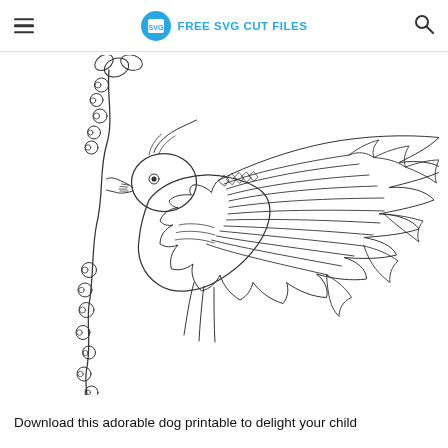FREE SVG CUT FILES
[Figure (illustration): Black and white line art / coloring page illustration of a bird (appears to be a hummingbird or sparrow) with detailed feather patterns on spread wings, holding or perched near a branch with berries/circles dangling below. The bird faces left with a detailed eye and beak. The image is a printable coloring page in outline style.]
Download this adorable dog printable to delight your child